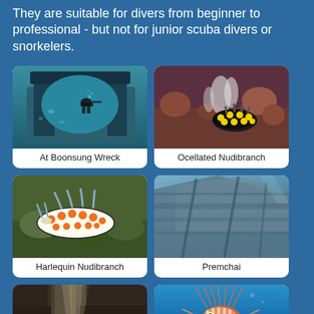They are suitable for divers from beginner to professional - but not for junior scuba divers or snorkelers.
[Figure (photo): Scuba diver underwater near wreck structure]
At Boonsung Wreck
[Figure (photo): Ocellated nudibranch sea slug on coral reef - black and yellow spotted]
Ocellated Nudibranch
[Figure (photo): Harlequin nudibranch - white body with orange spots]
Harlequin Nudibranch
[Figure (photo): Premchai wreck underwater view]
Premchai
[Figure (photo): Underwater wreck structure with pipes]
[Figure (photo): Lionfish underwater]